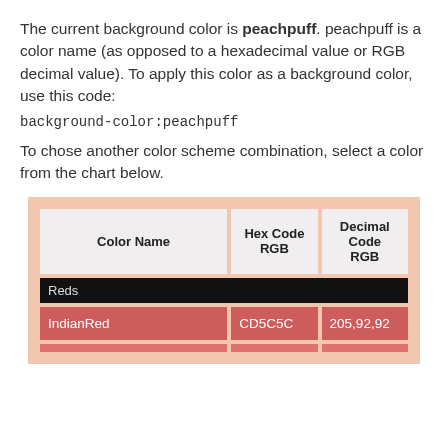The current background color is peachpuff. peachpuff is a color name (as opposed to a hexadecimal value or RGB decimal value). To apply this color as a background color, use this code:
background-color:peachpuff
To chose another color scheme combination, select a color from the chart below.
| Color Name | Hex Code RGB | Decimal Code RGB |
| --- | --- | --- |
| Reds |  |  |
| IndianRed | CD5C5C | 205,92,92 |
| ... | ... | ... |